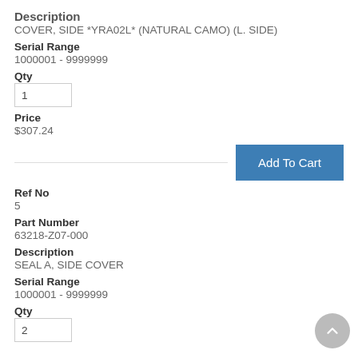Description
COVER, SIDE *YRA02L* (NATURAL CAMO) (L. SIDE)
Serial Range
1000001 - 9999999
Qty
1
Price
$307.24
Add To Cart
Ref No
5
Part Number
63218-Z07-000
Description
SEAL A, SIDE COVER
Serial Range
1000001 - 9999999
Qty
2